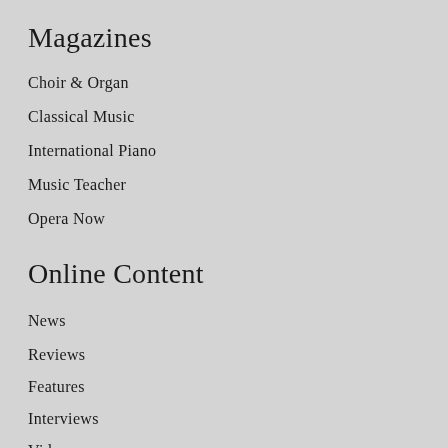Magazines
Choir & Organ
Classical Music
International Piano
Music Teacher
Opera Now
Online Content
News
Reviews
Features
Interviews
Videos
Competitions